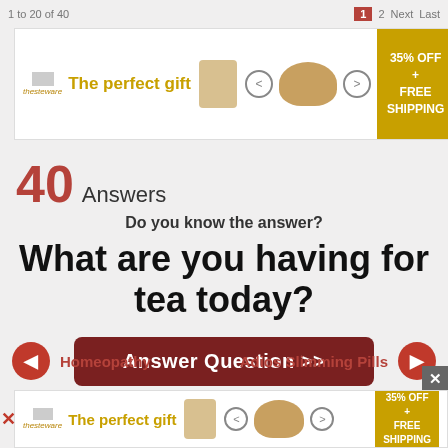1 to 20 of 40   1  2  Next  Last
[Figure (screenshot): Advertisement banner: The perfect gift - 35% OFF + FREE SHIPPING with images of food bowl and jar]
40 Answers
Do you know the answer?
What are you having for tea today?
Answer Question >>
Homeopathy
Adios Slimming Pills
[Figure (screenshot): Advertisement banner bottom: The perfect gift - 35% OFF + FREE SHIPPING]